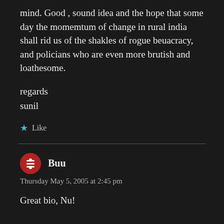mind. Good , sound idea and the hope that some day the momemtum of change in rural india shall rid us of the shakles of rogue beuacracy, and policians who are even more brutish and loathesome.
regards
sunil
★ Like
Buu
Thursday May 5, 2005 at 2:45 pm
Great bio, Nu!